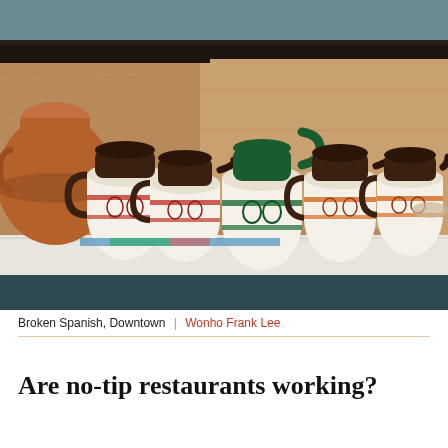[Figure (photo): Photograph of decorative painted ceramic pitchers and jugs arranged on a marble-topped counter at Broken Spanish restaurant, Downtown. The pitchers feature traditional folk art patterns in red, green, and black on white. A large terracotta pot is visible on the left. The backdrop is a wooden shelf unit with dark framing.]
Broken Spanish, Downtown | Wonho Frank Lee
Are no-tip restaurants working?